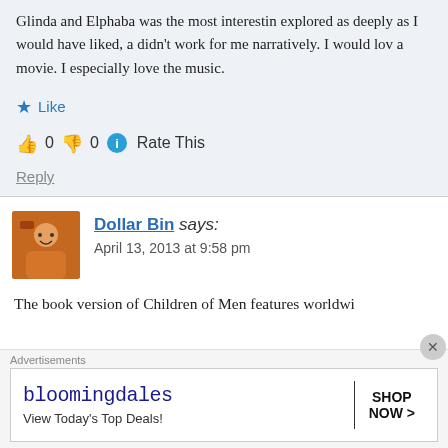Glinda and Elphaba was the most interesting explored as deeply as I would have liked, a didn't work for me narratively. I would lov a movie. I especially love the music.
Like
👍 0 👎 0 ℹ Rate This
Reply
Dollar Bin says:
April 13, 2013 at 9:58 pm
The book version of Children of Men features worldwi...
Advertisements
[Figure (screenshot): Bloomingdale's advertisement banner showing logo and Shop Now button]